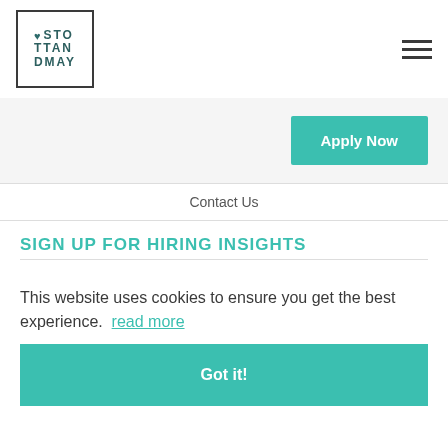[Figure (logo): Stott and May logo with heart icon in a bordered box. Text reads: heart STO TTAN DMAY]
Apply Now
Contact Us
SIGN UP FOR HIRING INSIGHTS
This website uses cookies to ensure you get the best experience. read more
Got it!